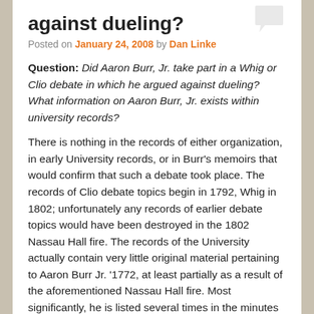against dueling?
Posted on January 24, 2008 by Dan Linke
Question: Did Aaron Burr, Jr. take part in a Whig or Clio debate in which he argued against dueling? What information on Aaron Burr, Jr. exists within university records?
There is nothing in the records of either organization, in early University records, or in Burr’s memoirs that would confirm that such a debate took place. The records of Clio debate topics begin in 1792, Whig in 1802; unfortunately any records of earlier debate topics would have been destroyed in the 1802 Nassau Hall fire. The records of the University actually contain very little original material pertaining to Aaron Burr Jr. ’1772, at least partially as a result of the aforementioned Nassau Hall fire. Most significantly, he is listed several times in the minutes of the Trustees among the graduates of the Class of 1772. From other sources such as the Pennsylvania Chronicle, we know that he delivered several orations at